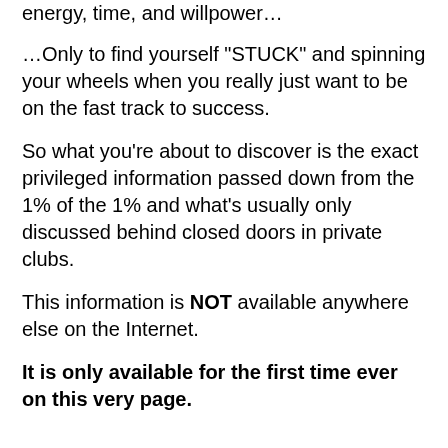energy, time, and willpower…
…Only to find yourself “STUCK” and spinning your wheels when you really just want to be on the fast track to success.
So what you’re about to discover is the exact privileged information passed down from the 1% of the 1% and what’s usually only discussed behind closed doors in private clubs.
This information is NOT available anywhere else on the Internet.
It is only available for the first time ever on this very page.